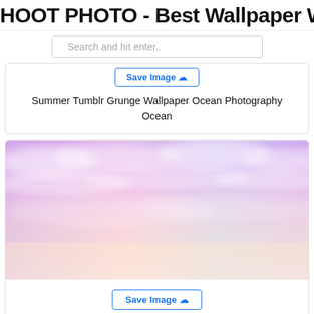HOOT PHOTO - Best Wallpaper Web
Search and hit enter..
Save Image
Summer Tumblr Grunge Wallpaper Ocean Photography Ocean
[Figure (photo): Pastel purple and pink sky with soft clouds fading into warm peach and cream tones at the bottom]
Save Image
34 Amazing Wallpaper For Iphone X Iphone Wallpaper